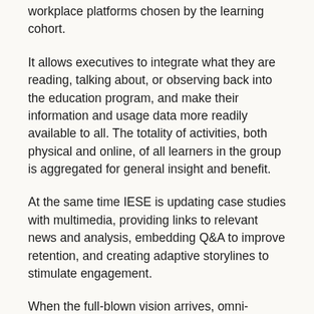workplace platforms chosen by the learning cohort.
It allows executives to integrate what they are reading, talking about, or observing back into the education program, and make their information and usage data more readily available to all. The totality of activities, both physical and online, of all learners in the group is aggregated for general insight and benefit.
At the same time IESE is updating case studies with multimedia, providing links to relevant news and analysis, embedding Q&A to improve retention, and creating adaptive storylines to stimulate engagement.
When the full-blown vision arrives, omni-learning will go beyond the business school and the beyond any one specific executive program, allowing each executive learner to connect with other and even competing contexts, people, places and practices in an expert-